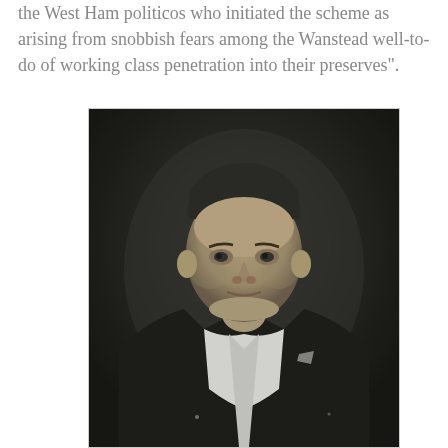the West Ham politicos who initiated the scheme as arising from snobbish fears among the Wanstead well-to-do of working class penetration into their preserves".
[Figure (photo): Black and white photograph of a middle-aged man wearing a dark suit jacket and white shirt, photographed from approximately the waist up against a dark background.]